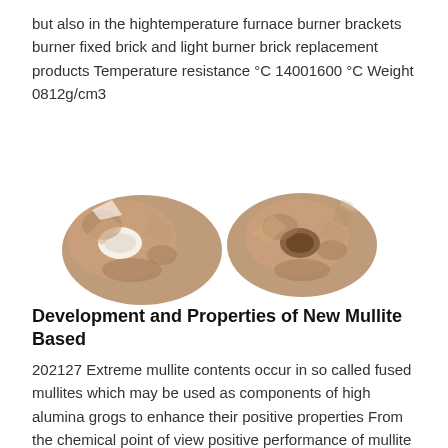but also in the hightemperature furnace burner brackets burner fixed brick and light burner brick replacement products Temperature resistance °C 14001600 °C Weight 0812g/cm3
[Figure (photo): Two tan/brown ceramic refractory burner brick pieces with irregular shapes and hollow openings, photographed on white background]
Development and Properties of New Mullite Based
202127 Extreme mullite contents occur in so called fused mullites which may be used as components of high alumina grogs to enhance their positive properties From the chemical point of view positive performance of mullite based grog is determined by high content of alumina and low contents of